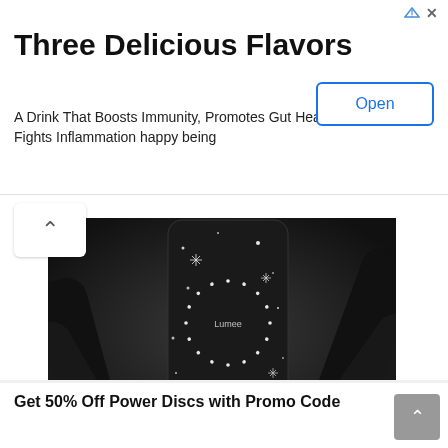Three Delicious Flavors
A Drink That Boosts Immunity, Promotes Gut Health, and Fights Inflammation happy being
[Figure (photo): Product photo of a dark sparkly phone case (Lumee brand) with a circular ring of LED dots and star/glitter pattern, displayed on a black stand against a dark background]
Case-Mate is offering 2 NEW holiday sales
Get 50% Off Power Discs with Promo Code